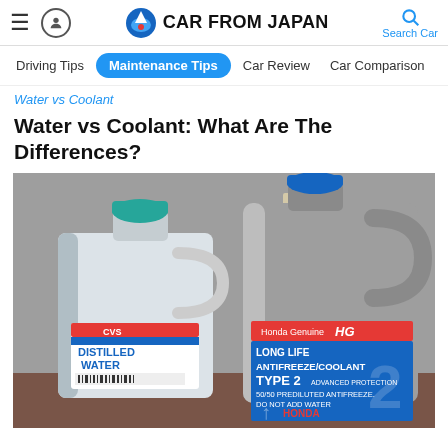CAR FROM JAPAN — Search Car
Driving Tips | Maintenance Tips | Car Review | Car Comparison
Water vs Coolant
Water vs Coolant: What Are The Differences?
[Figure (photo): A clear plastic gallon jug of CVS Distilled Water next to a silver Honda Genuine HG Long Life Antifreeze/Coolant Type 2 50/50 Prediluted gallon container, placed on a wooden surface.]